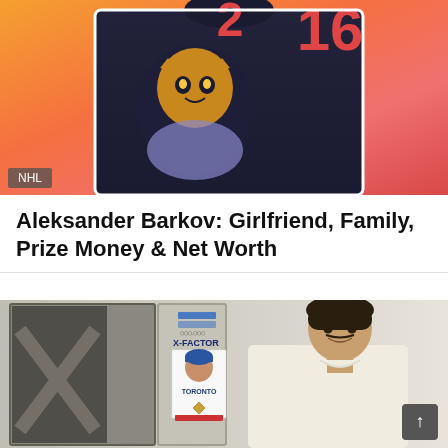[Figure (photo): Hockey player wearing Florida Panthers jersey number 16, photographed against an orange-red gradient background. NHL label in bottom-left corner.]
Aleksander Barkov: Girlfriend, Family, Prize Money & Net Worth
[Figure (photo): A man in a white t-shirt smiling, standing next to a gray locker with an X-Factor trading card poster on it. The locker shows a Toronto-themed baseball card featuring a player in a blue cap.]